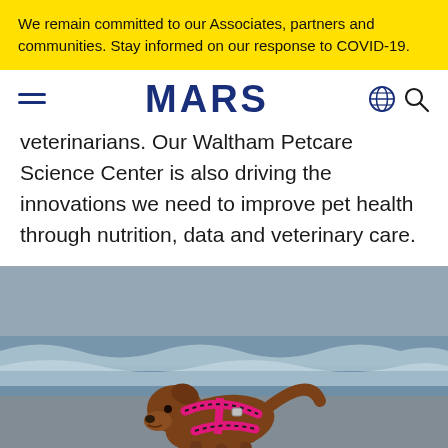We remain committed to our Associates, partners and communities. Stay informed on our response to COVID-19.
MARS
veterinarians. Our Waltham Petcare Science Center is also driving the innovations we need to improve pet health through nutrition, data and veterinary care.
[Figure (photo): A brown dog wearing a pink and black life vest/harness running on a beach with ocean waves in the background.]